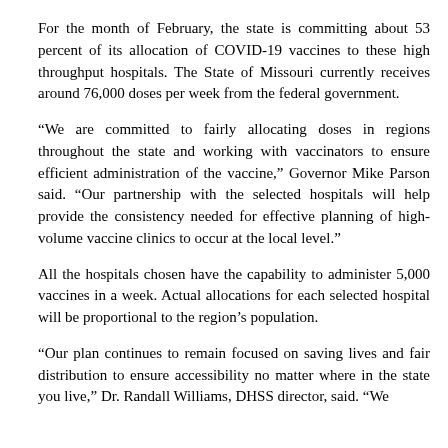For the month of February, the state is committing about 53 percent of its allocation of COVID-19 vaccines to these high throughput hospitals. The State of Missouri currently receives around 76,000 doses per week from the federal government.
“We are committed to fairly allocating doses in regions throughout the state and working with vaccinators to ensure efficient administration of the vaccine,” Governor Mike Parson said. “Our partnership with the selected hospitals will help provide the consistency needed for effective planning of high-volume vaccine clinics to occur at the local level.”
All the hospitals chosen have the capability to administer 5,000 vaccines in a week. Actual allocations for each selected hospital will be proportional to the region’s population.
“Our plan continues to remain focused on saving lives and fair distribution to ensure accessibility no matter where in the state you live,” Dr. Randall Williams, DHSS director, said. “We